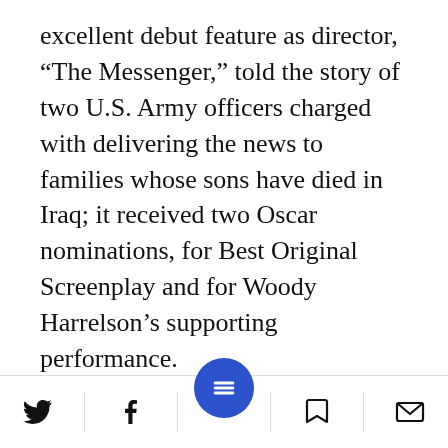excellent debut feature as director, “The Messenger,” told the story of two U.S. Army officers charged with delivering the news to families whose sons have died in Iraq; it received two Oscar nominations, for Best Original Screenplay and for Woody Harrelson’s supporting performance.
It may be that Moverman occasionally tried to steer “Junction 48” toward a more mainstream path, an effort that pulled against Nafar’s art and Aloni’s tendency to go off in all directions. But if such a conflict indeed
Social share and navigation bar with Twitter, Facebook, menu, bookmark, and email icons